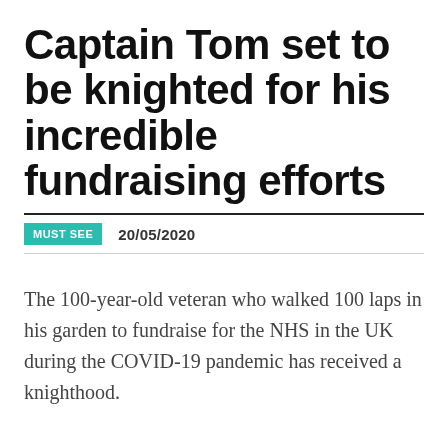Captain Tom set to be knighted for his incredible fundraising efforts
MUST SEE   20/05/2020
The 100-year-old veteran who walked 100 laps in his garden to fundraise for the NHS in the UK during the COVID-19 pandemic has received a knighthood.